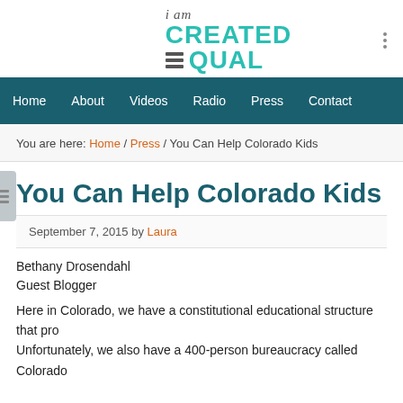[Figure (logo): i am CREATED EQUAL logo in teal and gray with horizontal lines]
Home | About | Videos | Radio | Press | Contact
You are here: Home / Press / You Can Help Colorado Kids
You Can Help Colorado Kids
September 7, 2015 by Laura
Bethany Drosendahl
Guest Blogger
Here in Colorado, we have a constitutional educational structure that pro... Unfortunately, we also have a 400-person bureaucracy called Colorado...